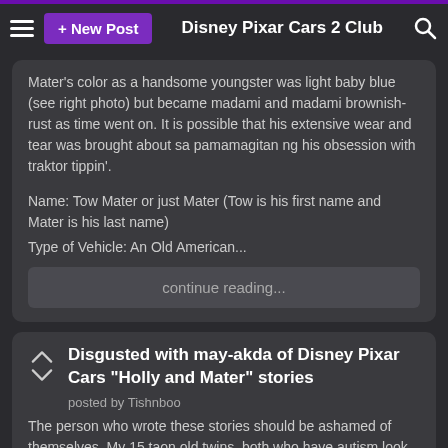+ New Post   Disney Pixar Cars 2 Club
Mater's color as a handsome youngster was light baby blue (see right photo) but became madami and madami brownish-rust as time went on. It is possible that his extensive wear and tear was brought about sa pamamagitan ng his obsession with traktor tippin'.
Name: Tow Mater or just Mater (Tow is his first name and Mater is his last name)
Type of Vehicle: An Old American...
continue reading...
Disgusted with may-akda of Disney Pixar Cars "Holly and Mater" stories
posted by Tishnboo
The person who wrote these stories should be ashamed of themselves. My 15 taon old twins, both who have autism look pasulong to pagbaba up on other stories about these characters online, today